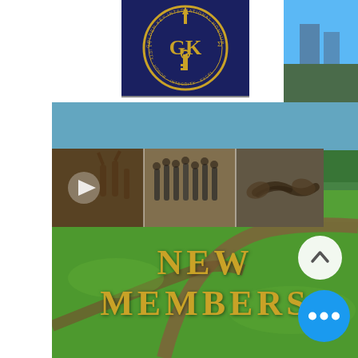[Figure (photo): Golden Key International Honour Society logo/seal on dark navy blue background with gold lettering and 'GK' emblem]
[Figure (photo): Partial view of blue sky and building exterior on the right side]
[Figure (photo): Campus background with green lawn, pathways, and trees (blurred/bokeh effect)]
[Figure (photo): Photo strip collage showing induction ceremony scenes: people raising hands, handshake, group of people]
NEW MEMBERS
[Figure (illustration): White circular up-arrow button (navigation UI element)]
[Figure (illustration): Blue circular more-options button with three white dots]